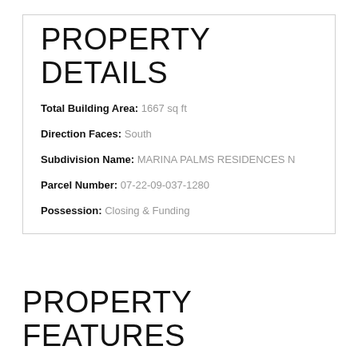PROPERTY DETAILS
Total Building Area: 1667 sq ft
Direction Faces: South
Subdivision Name: MARINA PALMS RESIDENCES N
Parcel Number: 07-22-09-037-1280
Possession: Closing & Funding
PROPERTY FEATURES